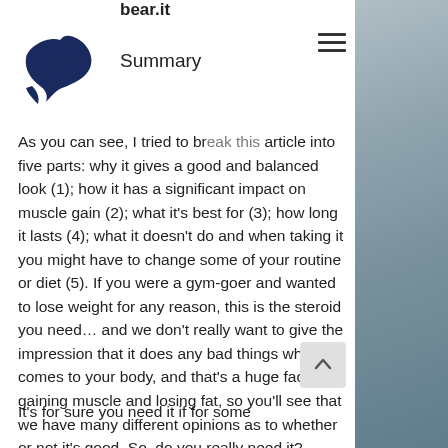bear.it
[Figure (logo): Dark navy blue dove/bird logo icon]
Summary
As you can see, I tried to break this article into five parts: why it gives a good and balanced look (1); how it has a significant impact on muscle gain (2); what it's best for (3); how long it lasts (4); what it doesn't do and when taking it you might have to change some of your routine or diet (5). If you were a gym-goer and wanted to lose weight for any reason, this is the steroid you need… and we don't really want to give the impression that it does any bad things when it comes to your body, and that's a huge factor for gaining muscle and losing fat, so you'll see that we have many different opinions as to whether or not it's good. So, do you really need it?
It's for sure you need it if for some